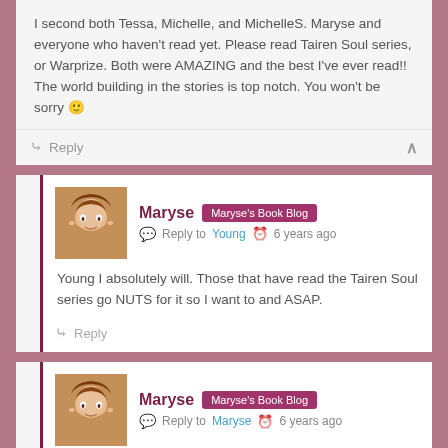I second both Tessa, Michelle, and MichelleS. Maryse and everyone who haven't read yet. Please read Tairen Soul series, or Warprize. Both were AMAZING and the best I've ever read!! The world building in the stories is top notch. You won't be sorry 🙂
↪ Reply ∧
Maryse  Maryse's Book Blog  Reply to Young  6 years ago
Young I absolutely will. Those that have read the Tairen Soul series go NUTS for it so I want to and ASAP.
↪ Reply
Maryse  Maryse's Book Blog  Reply to Maryse  6 years ago